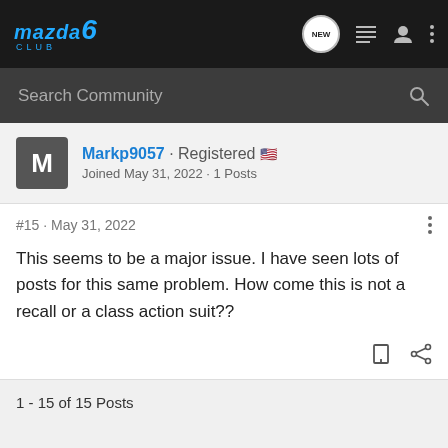[Figure (logo): Mazda6 Club logo - blue stylized text with '6' in larger font on dark background]
Search Community
Markp9057 · Registered 🇺🇸
Joined May 31, 2022 · 1 Posts
#15 · May 31, 2022
This seems to be a major issue. I have seen lots of posts for this same problem. How come this is not a recall or a class action suit??
1 - 15 of 15 Posts